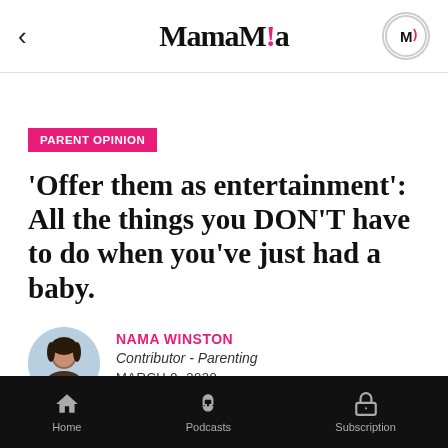MamaMia
PARENT OPINION
'Offer them as entertainment': All the things you DON'T have to do when you've just had a baby.
NAMA WINSTON
Contributor - Parenting
MARCH 9, 2020
Home  Podcasts  Subscription